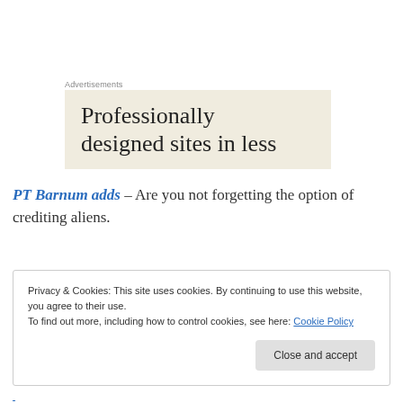Advertisements
[Figure (other): Advertisement banner with beige background showing text: Professionally designed sites in less]
PT Barnum adds – Are you not forgetting the option of crediting aliens.
Privacy & Cookies: This site uses cookies. By continuing to use this website, you agree to their use.
To find out more, including how to control cookies, see here: Cookie Policy
Close and accept
(truncated footer link text)